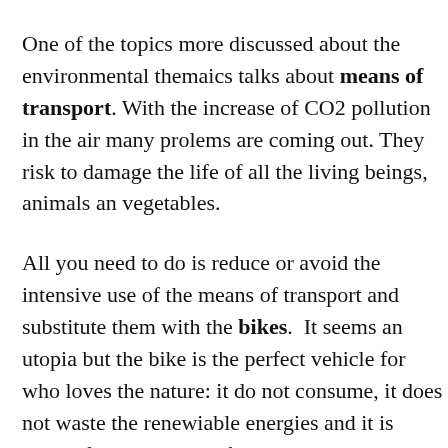One of the topics more discussed about the environmental themaics talks about means of transport. With the increase of CO2 pollution in the air many prolems are coming out. They risk to damage the life of all the living beings, animals and vegetables.
All you need to do is reduce or avoid the intensive use of the means of transport and substitute them with the bikes. It seems an utopia but the bike is the perfect vehicle for who loves the nature: it do not consume, it does not waste the renewiable energies and it is usable for every kind of tasks, more than the hulking cars.